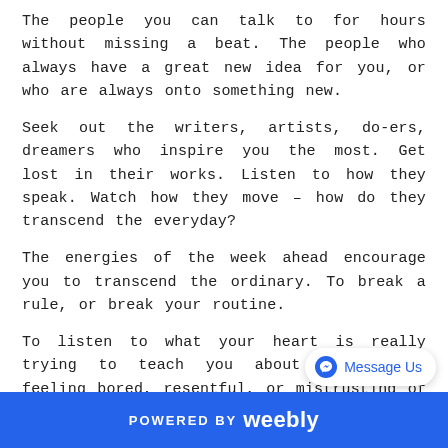The people you can talk to for hours without missing a beat. The people who always have a great new idea for you, or who are always onto something new.
Seek out the writers, artists, do-ers, dreamers who inspire you the most. Get lost in their works. Listen to how they speak. Watch how they move – how do they transcend the everyday?
The energies of the week ahead encourage you to transcend the ordinary. To break a rule, or break your routine.
To listen to what your heart is really trying to teach you about why you're feeling bored, resentful, or mistrusting of certain processes or plans. It not be that any of these things are wrong, but they are just not right for right now.
Pay attention as we near the weekend, too, when Mars and Saturn oppose each other and force you to ask yourself whether you need
POWERED BY weebly